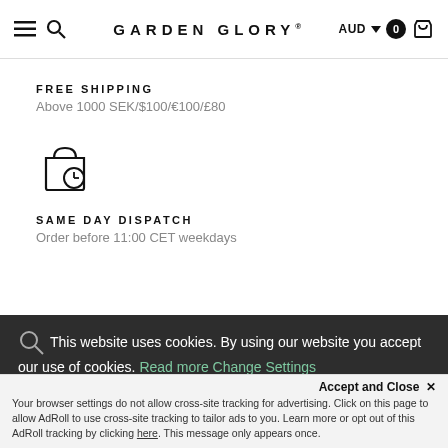GARDEN GLORY® AUD 0
FREE SHIPPING
Above 1000 SEK/$100/€100/£80
[Figure (illustration): Shopping bag with clock icon representing same day dispatch]
SAME DAY DISPATCH
Order before 11:00 CET weekdays
This website uses cookies. By using our website you accept our use of cookies. Read more Change Settings
Accept and Close ✕
Your browser settings do not allow cross-site tracking for advertising. Click on this page to allow AdRoll to use cross-site tracking to tailor ads to you. Learn more or opt out of this AdRoll tracking by clicking here. This message only appears once.